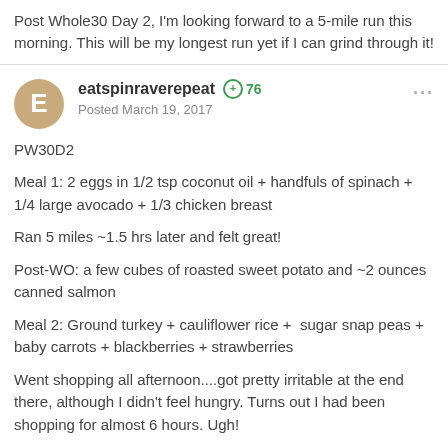Post Whole30 Day 2, I'm looking forward to a 5-mile run this morning. This will be my longest run yet if I can grind through it!
eatspinraverepeat +76 Posted March 19, 2017
PW30D2

Meal 1: 2 eggs in 1/2 tsp coconut oil + handfuls of spinach + 1/4 large avocado + 1/3 chicken breast

Ran 5 miles ~1.5 hrs later and felt great!

Post-WO: a few cubes of roasted sweet potato and ~2 ounces canned salmon

Meal 2: Ground turkey + cauliflower rice +  sugar snap peas + baby carrots + blackberries + strawberries

Went shopping all afternoon....got pretty irritable at the end there, although I didn't feel hungry. Turns out I had been shopping for almost 6 hours. Ugh!